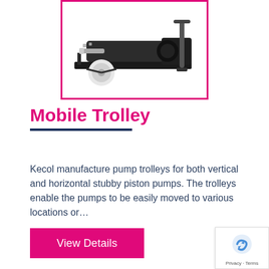[Figure (photo): Mobile trolley with horizontal stubby piston pump mounted on a black metal frame with a white wheel, shown against white background, framed with magenta/pink border]
Mobile Trolley
Kecol manufacture pump trolleys for both vertical and horizontal stubby piston pumps. The trolleys enable the pumps to be easily moved to various locations or…
View Details